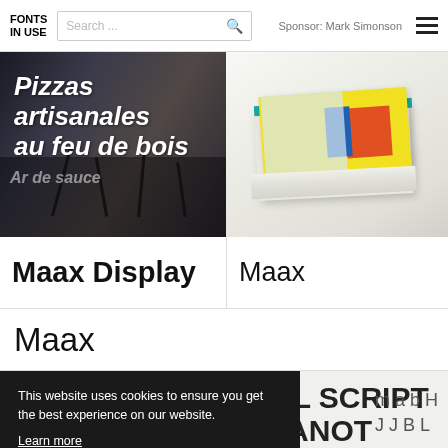FONTS IN USE  Search...  Sponsor: Mark Simonson
[Figure (photo): Photo of a storefront window with italic bold white text reading 'Pizzas artisanales au feu de bois' against a dark urban background]
[Figure (photo): Photo of a yellow book/notebook with teal spine stacked on white books against a light background]
Maax Display
Maax
Maax
[Figure (photo): Partial photo showing dark background with handwritten-style text reading 'TUAL SCRIPT TYPANOT' and script characters]
This website uses cookies to ensure you get the best experience on our website. Learn more  Got it!